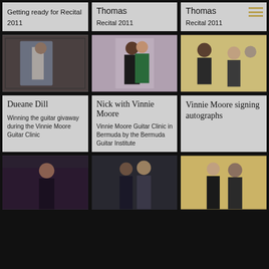Getting ready for Recital 2011
Thomas
Recital 2011
Thomas
Recital 2011
[Figure (photo): Person standing next to a colorful board in a hall]
[Figure (photo): Two people posing together at an event]
[Figure (photo): People gathered around a table at an event]
Dueane Dill
Winning the guitar givaway during the Vinnie Moore Guitar Clinic
Nick with Vinnie Moore
Vinnie Moore Guitar Clinic in Bermuda by the Bermuda Guitar Institute
Vinnie Moore signing autographs
[Figure (photo): Person at a piano or keyboard instrument]
[Figure (photo): Two people standing together posing for a photo]
[Figure (photo): Two people posing together near curtains]